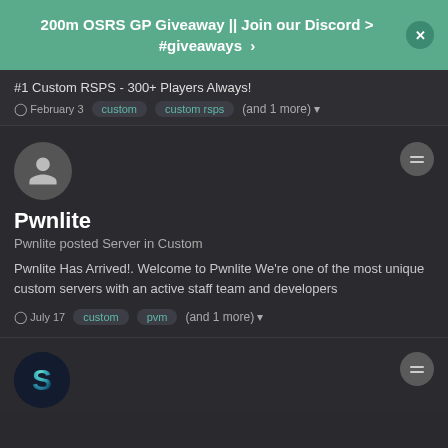200m OSRS GP Giveaway || Join our Discord > #giveaways >
#1 Custom RSPS - 300+ Players Always!
February 3   custom   custom rsps   (and 1 more)
Pwnlite
Pwnlite posted Server in Custom
Pwnlite Has Arrived!. Welcome to Pwnlite We're one of the most unique custom servers with an active staff team and developers
July 17   custom   pvm   (and 1 more)